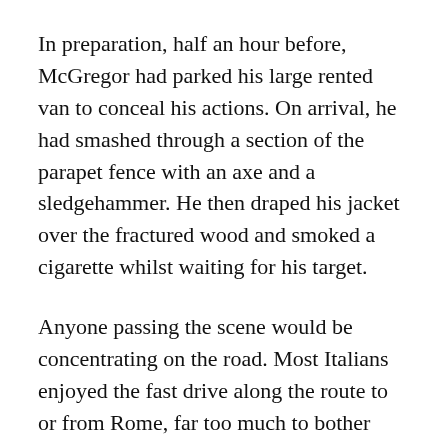In preparation, half an hour before, McGregor had parked his large rented van to conceal his actions. On arrival, he had smashed through a section of the parapet fence with an axe and a sledgehammer. He then draped his jacket over the fractured wood and smoked a cigarette whilst waiting for his target.
Anyone passing the scene would be concentrating on the road. Most Italians enjoyed the fast drive along the route to or from Rome, far too much to bother looking at a parked vehicle with much interest.